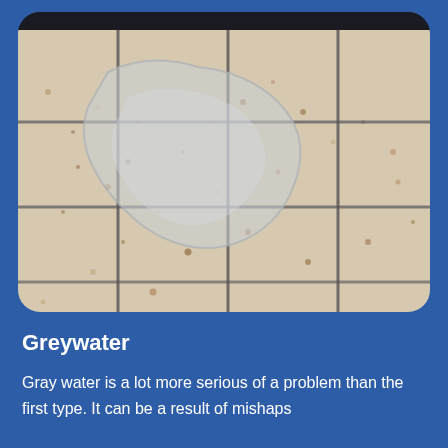[Figure (photo): Close-up photograph of light-colored terrazzo/stone floor tiles with dark grout lines, showing a large irregularly shaped water stain or wet patch on the surface. The background shows a dark wall or baseboard at the top.]
Greywater
Gray water is a lot more serious of a problem than the first type. It can be a result of mishaps